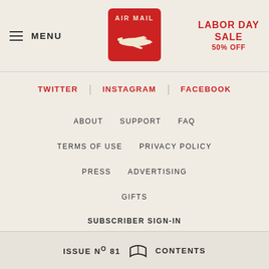≡ MENU | AIR MAIL | LABOR DAY SALE 50% OFF
TWITTER | INSTAGRAM | FACEBOOK
ABOUT  SUPPORT  FAQ
TERMS OF USE  PRIVACY POLICY
PRESS  ADVERTISING
GIFTS
SUBSCRIBER SIGN-IN
ISSUE Nº 81  [book icon]  CONTENTS